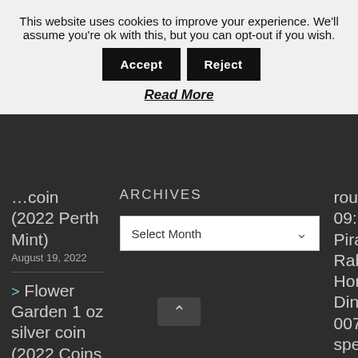This website uses cookies to improve your experience. We'll assume you're ok with this, but you can opt-out if you wish. Accept Reject
Read More
…coin (2022 Perth Mint) August 19, 2022
ARCHIVES
Select Month
> Flower Garden 1 oz silver coin (2022 Coins Today) August 19, 2022
> It's CIT time with a breathtaking…
round-up 09: Pirates, Rabbits, Horses, Dinos, 007, A speedy Hedgehog, and old big-nose is off on a rampage...
> Mik